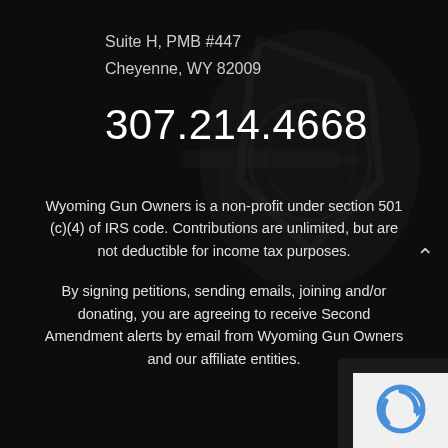Suite H, PMB #447
Cheyenne, WY 82009
307.214.4668
Wyoming Gun Owners is a non-profit under section 501 (c)(4) of IRS code. Contributions are unlimited, but are not deductible for income tax purposes.
By signing petitions, sending emails, joining and/or donating, you are agreeing to receive Second Amendment alerts by email from Wyoming Gun Owners and our affiliate entities.
[Figure (other): reCAPTCHA widget partially visible in bottom-right corner]